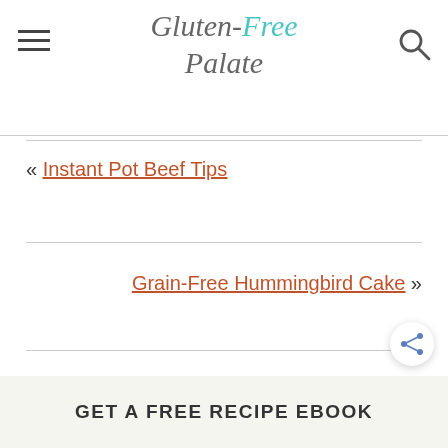Gluten-Free Palate
« Instant Pot Beef Tips
Grain-Free Hummingbird Cake »
GET A FREE RECIPE EBOOK